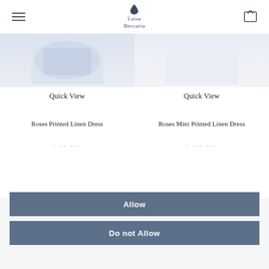Luisa Beccaria
Quick View
Quick View
Roses Printed Linen Dress
Roses Mini Printed Linen Dress
Allow
Do not Allow